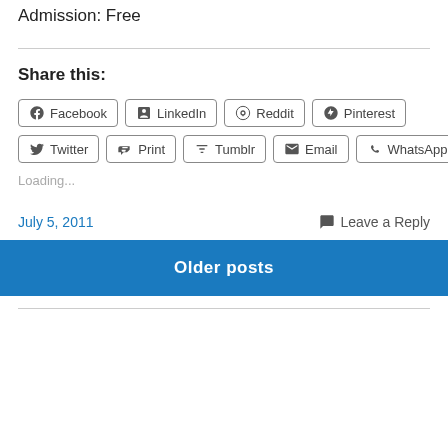Admission: Free
Share this:
Facebook  LinkedIn  Reddit  Pinterest  Twitter  Print  Tumblr  Email  WhatsApp
Loading...
July 5, 2011
Leave a Reply
Older posts